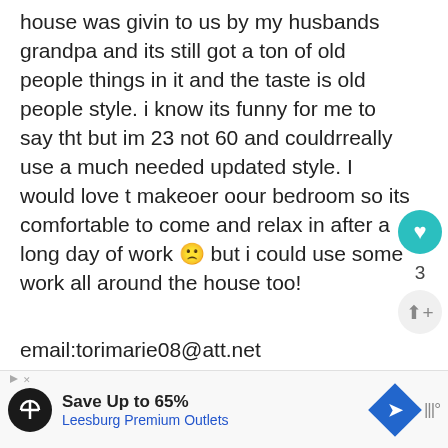house was givin to us by my husbands grandpa and its still got a ton of old people things in it and the taste is old people style. i know its funny for me to say tht but im 23 not 60 and couldrreally use a much needed updated style. I would love t makeoer oour bedroom so its comfortable to come and relax in after a long day of work 🙁 but i could use some work all around the house too!
email:torimarie08@att.net
Reply
WHAT'S NEXT → Midcentury Dresser...
Save Up to 65%
Leesburg Premium Outlets